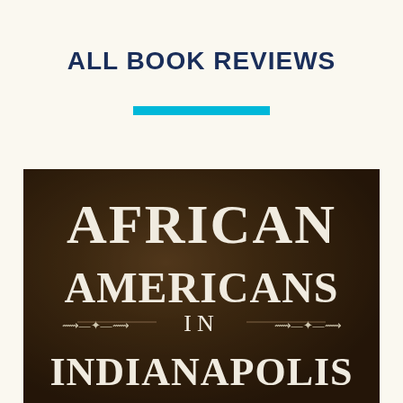ALL BOOK REVIEWS
[Figure (illustration): Book cover of 'African Americans in Indianapolis' showing white serif text on a dark brown textured background. Text reads: AFRICAN AMERICANS IN INDIANAPOLIS with decorative ornamental dividers between lines.]